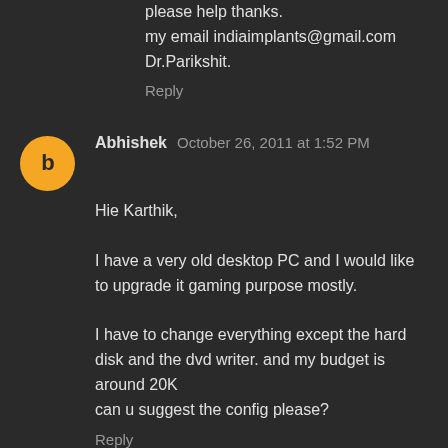please help thanks.
my email indiaimplants@gmail.com
Dr.Parikshit.
Reply
Abhishek  October 26, 2011 at 1:52 PM
Hie Karthik,

I have a very old desktop PC and I would like to upgrade it gaming purpose mostly.

I have to change everything except the hard disk and the dvd writer. and my budget is around 20K
can u suggest the config please?
Reply
rajini prabhu  October 31, 2011 at 7:02 PM
DEAR KARTHIKKKKKKK........
THANK U VERY MUCH FOR UR EFFOERT.. UR BLOG IS